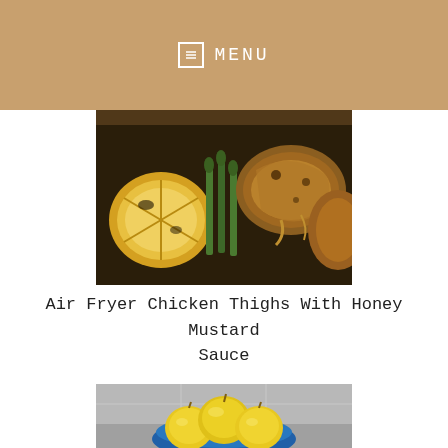MENU
[Figure (photo): Close-up of air fryer chicken thighs with honey mustard sauce, grilled lemon halves, asparagus, and golden-brown chicken on a dark roasting pan]
Air Fryer Chicken Thighs With Honey Mustard Sauce
[Figure (photo): Yellow fruits (possibly quinces or lemons) in a blue bowl on a light gray surface]